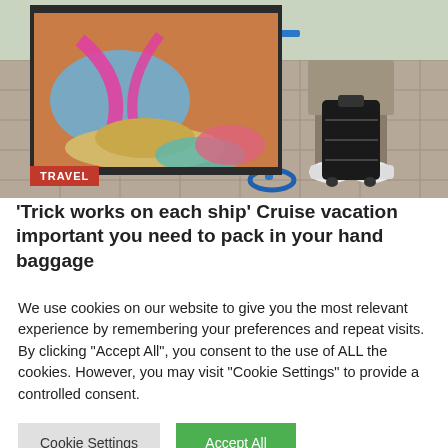[Figure (photo): Two travel photos side by side: left shows colorful clothes and items being packed into a suitcase with a straw hat; right shows a person in shorts and white sneakers pulling a black rolling suitcase on a paved outdoor area with a blue bicycle visible. A red 'TRAVEL' badge appears at the bottom left of the image area.]
'Trick works on each ship' Cruise vacation important you need to pack in your hand baggage
We use cookies on our website to give you the most relevant experience by remembering your preferences and repeat visits. By clicking "Accept All", you consent to the use of ALL the cookies. However, you may visit "Cookie Settings" to provide a controlled consent.